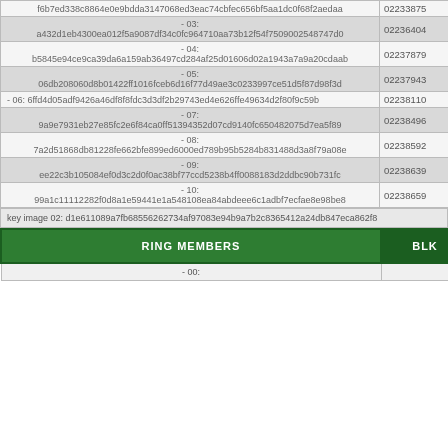| RING MEMBERS | BLK |
| --- | --- |
| -­­ f6b7ed338c8864e0e9bdda3147068ed3eac74cbfec656bf5aa1dc0f68f2aedaa | 02233875 |
| -03:
a432d1eb4300ea012f5a9087df34c0fc964710aa73b12f54f7509002548747d0 | 02236404 |
| -04:
b5845e94ce9ca39da6a159ab36497cd284af25d01606d02a1943a7a9a20cdaab | 02237879 |
| -05:
06db208060d8b01422ff1016fceb6d16f77d49ae3c0233997ce51d5f87d98f3d | 02237943 |
| -06: 6ffd4d05adf9426a46df8f8fdc3d3df2b29743ed4e626ffe49634d2f80f9c59b | 02238110 |
| -07:
9a9e7931eb27e85fc2e6f84ca0ff51394352d07cd9140fc650482075d7ea5f89 | 02238496 |
| -08:
7a2d51868db81228fe662bfe899ed6000ed789b95b5284b831488d3a8f79a08e | 02238592 |
| -09:
ee22c3b105084ef0d3c2d0f0ac38bf77ccd5238b4ff0088183d2ddbc90b731fc | 02238639 |
| -10:
99a1c11112282f0d8a1e59441e1a548108ea84abdeee6c1adbf7ecfae8e98be8 | 02238659 |
key image 02: d1e611089a7fb68556262734af97083e94b9a7b2c8365412a24db847eca862f8
| RING MEMBERS | BLK |
| --- | --- |
| -00: |  |